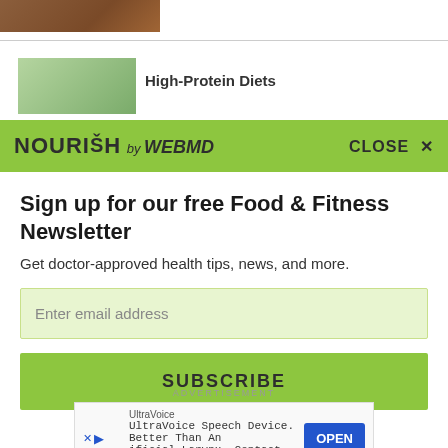[Figure (photo): Partial top image, cropped brown/food photo strip]
[Figure (photo): Thumbnail image of food item next to article title]
High-Protein Diets
NOURISH by WebMD  CLOSE X
Sign up for our free Food & Fitness Newsletter
Get doctor-approved health tips, news, and more.
Enter email address
SUBSCRIBE
ADVERTISEMENT
UltraVoice
UltraVoice Speech Device. Better Than An Artificial Larynx. Contact Us Today.
OPEN